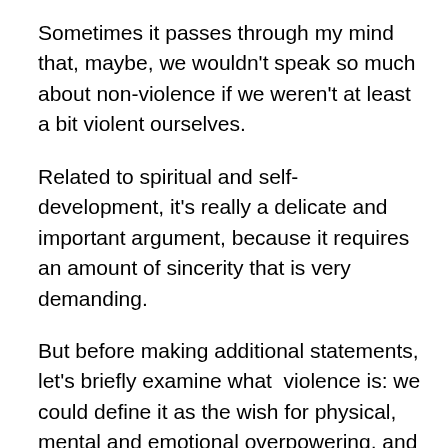Sometimes it passes through my mind that, maybe, we wouldn't speak so much about non-violence if we weren't at least a bit violent ourselves.
Related to spiritual and self- development, it's really a delicate and important argument, because it requires an amount of sincerity that is very demanding.
But before making additional statements, let's briefly examine what  violence is: we could define it as the wish for physical, mental and emotional overpowering, and this is the egoist and dirty violence. But, even without these egoistic attitudes, violence exists in nature: just think about the bear and the salmon or the wolf, the shark etc… and its prey. Such animals are not violent in the same egoistic way as humans. However, even if they don't hate their prey, they hunt them and kill for necessity. They are violent